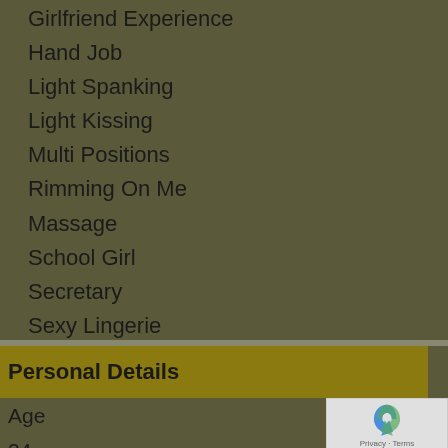Girlfriend Experience
Hand Job
Light Spanking
Light Kissing
Multi Positions
Rimming On Me
Massage
School Girl
Secretary
Sexy Lingerie
Stripe Tease
Personal Details
Age
24
Ethnicity